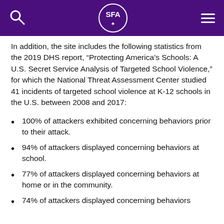SFA
In addition, the site includes the following statistics from the 2019 DHS report, “Protecting America’s Schools: A U.S. Secret Service Analysis of Targeted School Violence,” for which the National Threat Assessment Center studied 41 incidents of targeted school violence at K-12 schools in the U.S. between 2008 and 2017:
100% of attackers exhibited concerning behaviors prior to their attack.
94% of attackers displayed concerning behaviors at school.
77% of attackers displayed concerning behaviors at home or in the community.
74% of attackers displayed concerning behaviors...